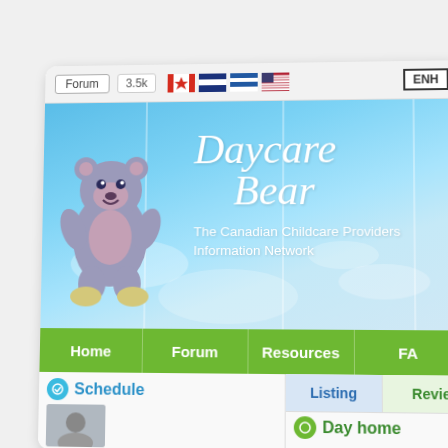[Figure (screenshot): Screenshot of Daycare Bear website — Canadian Childcare Providers Information Network. Shows a browser-like card with a top navigation bar containing Forum button, 3.5k count, Canadian/other flags, and ENH button. Below is a sky-blue hero banner with a cartoon bear illustration on the left and 'Daycare Bear' in italic serif text with tagline 'The Canadian Childcare Providers Information Network'. A green navigation bar shows Home, Forum, Resources, FA(Q) links. Bottom section has Schedule panel on the left with a teal circle icon, and Listing/Review tabs on the right with a Day home entry.]